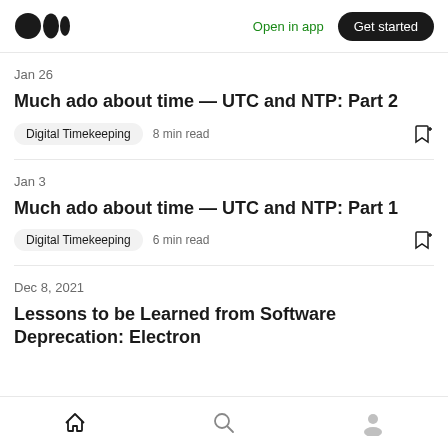Medium logo | Open in app | Get started
Jan 26
Much ado about time — UTC and NTP: Part 2
Digital Timekeeping  8 min read
Jan 3
Much ado about time — UTC and NTP: Part 1
Digital Timekeeping  6 min read
Dec 8, 2021
Lessons to be Learned from Software Deprecation: Electron
Home | Search | Profile